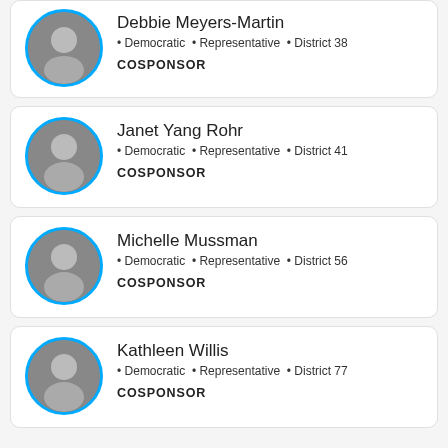[Figure (photo): Circular portrait photo of Debbie Meyers-Martin with blue border]
Debbie Meyers-Martin
Democratic · Representative · District 38
COSPONSOR
[Figure (photo): Circular portrait photo of Janet Yang Rohr with blue border]
Janet Yang Rohr
Democratic · Representative · District 41
COSPONSOR
[Figure (photo): Circular portrait photo of Michelle Mussman with blue border]
Michelle Mussman
Democratic · Representative · District 56
COSPONSOR
[Figure (photo): Circular portrait photo of Kathleen Willis with blue border]
Kathleen Willis
Democratic · Representative · District 77
COSPONSOR